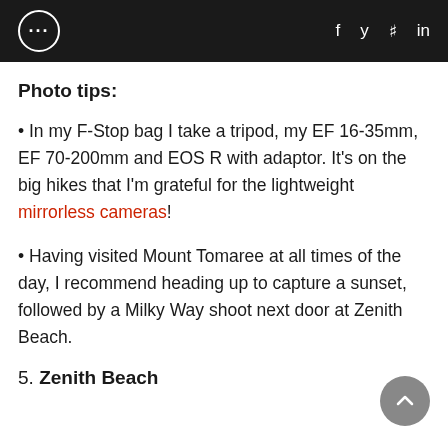... f y p in
Photo tips:
• In my F-Stop bag I take a tripod, my EF 16-35mm, EF 70-200mm and EOS R with adaptor. It's on the big hikes that I'm grateful for the lightweight mirrorless cameras!
• Having visited Mount Tomaree at all times of the day, I recommend heading up to capture a sunset, followed by a Milky Way shoot next door at Zenith Beach.
5. Zenith Beach